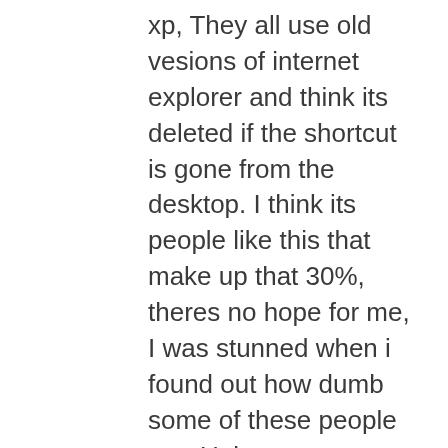xp, They all use old vesions of internet explorer and think its deleted if the shortcut is gone from the desktop. I think its people like this that make up that 30%, theres no hope for me, I was stunned when i found out how dumb some of these people are. Unless someone did it for them they would never be able to convert to linux themselves. I personally cant wait for the next netrunner based on kubuntu 1404, I dont think its netrunner's aim to look like windows but it just kind of happens because they just go for a modern classic style that just happens to resemble windows. As opposed to Zorin which tries to clone windows in every way it can pretty much. Lubuntu is amazing though too, it